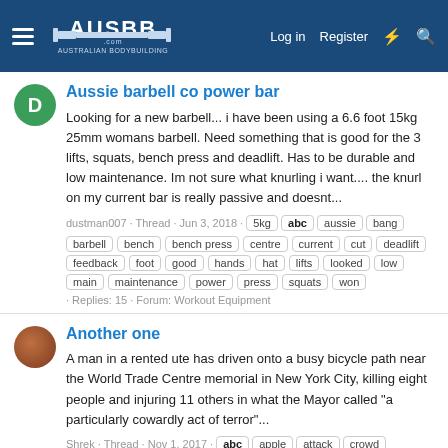AUSBB.com Australian Bodybuilding - Log in | Register
Aussie barbell co power bar
Looking for a new barbell... i have been using a 6.6 foot 15kg 25mm womans barbell. Need something that is good for the 3 lifts, squats, bench press and deadlift. Has to be durable and low maintenance. Im not sure what knurling i want.... the knurl on my current bar is really passive and doesnt...
dustman007 · Thread · Jun 3, 2018 · 5kg abc aussie bang barbell bench bench press centre current cut deadlift feedback foot good hands hat lifts looked low main maintenance power press squats won · Replies: 15 · Forum: Workout Equipment
Another one
A man in a rented ute has driven onto a busy bicycle path near the World Trade Centre memorial in New York City, killing eight people and injuring 11 others in what the Mayor called "a particularly cowardly act of terror"...
Shrek · Thread · Nov 1, 2017 · abc apple attack crowd dead der drive error fake hat heard las news snot tack tan terror tha time url uto walked